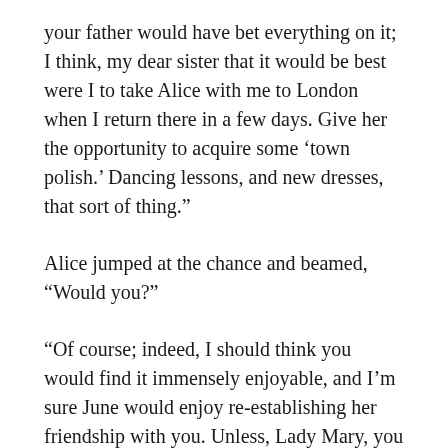your father would have bet everything on it; I think, my dear sister that it would be best were I to take Alice with me to London when I return there in a few days. Give her the opportunity to acquire some ‘town polish.’ Dancing lessons, and new dresses, that sort of thing.”
Alice jumped at the chance and beamed, “Would you?”
“Of course; indeed, I should think you would find it immensely enjoyable, and I’m sure June would enjoy re-establishing her friendship with you. Unless, Lady Mary, you have any objections?”